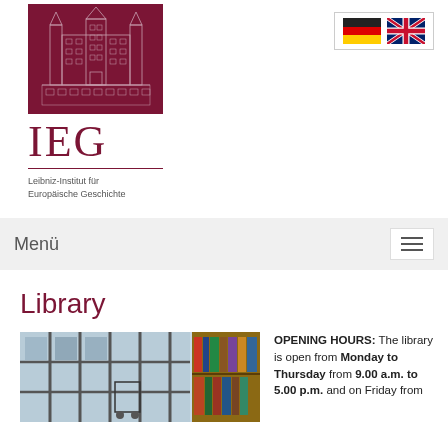[Figure (logo): IEG Leibniz-Institut für Europäische Geschichte logo with building illustration on dark red background, large IEG text, and subtitle]
[Figure (other): German and UK flag icons for language selection]
Menü
Library
[Figure (photo): Interior photo of library with large windows and bookshelves]
OPENING HOURS: The library is open from Monday to Thursday from 9.00 a.m. to 5.00 p.m. and on Friday from